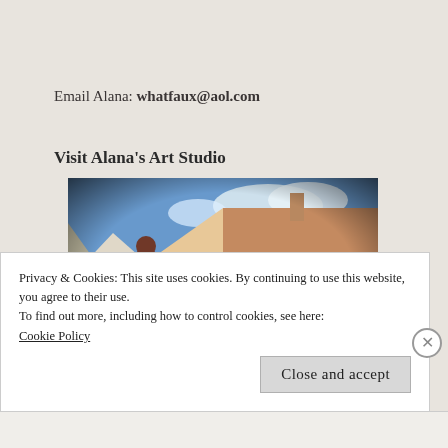Email Alana: whatfaux@aol.com
Visit Alana's Art Studio
[Figure (photo): Exterior photo of Alana's Art Studio, a white house with an angled roof, arched window, red-painted 'A' sign above the entrance, flower basket, dark shutters, blue sky with clouds, with a vintage vignette effect.]
Privacy & Cookies: This site uses cookies. By continuing to use this website, you agree to their use.
To find out more, including how to control cookies, see here:
Cookie Policy
Close and accept